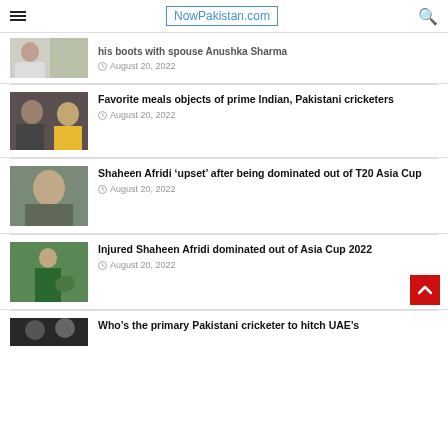NowPakistan.com
[Figure (photo): Partial article image - couple/ladies photo]
...his boots with spouse Anushka Sharma
August 20, 2022
[Figure (photo): Two cricketers - Indian and Pakistani]
Favorite meals objects of prime Indian, Pakistani cricketers
August 20, 2022
[Figure (photo): Shaheen Afridi portrait]
Shaheen Afridi ‘upset’ after being dominated out of T20 Asia Cup
August 20, 2022
[Figure (photo): Shaheen Afridi bowling action on cricket field]
Injured Shaheen Afridi dominated out of Asia Cup 2022
August 20, 2022
[Figure (photo): Dark photo - partial view at bottom]
Who’s the primary Pakistani cricketer to hitch UAE’s...